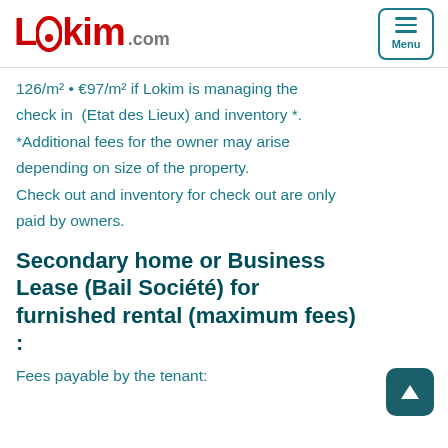Lokim.com | Menu
126/m² • €97/m² if Lokim is managing the check in (Etat des Lieux) and inventory *. *Additional fees for the owner may arise depending on size of the property. Check out and inventory for check out are only paid by owners.
Secondary home or Business Lease (Bail Société) for furnished rental (maximum fees) :
Fees payable by the tenant: